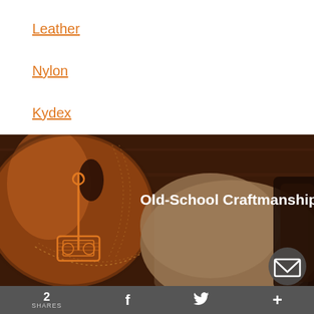Leather
Nylon
Kydex
[Figure (photo): Close-up photo of brown leather holster with stitching details and a leather/suede object in background. Orange line-art logo of a sewing/leatherworking tool overlaid on left side. White bold text overlay reading 'Old-School Craftmanship'. Dark email button (envelope icon) in bottom-right corner.]
2 SHARES  f  [twitter bird]  +